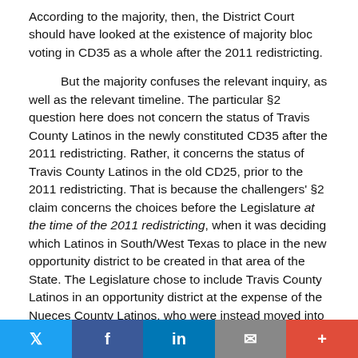According to the majority, then, the District Court should have looked at the existence of majority bloc voting in CD35 as a whole after the 2011 redistricting.
But the majority confuses the relevant inquiry, as well as the relevant timeline. The particular §2 question here does not concern the status of Travis County Latinos in the newly constituted CD35 after the 2011 redistricting. Rather, it concerns the status of Travis County Latinos in the old CD25, prior to the 2011 redistricting. That is because the challengers' §2 claim concerns the choices before the Legislature at the time of the 2011 redistricting, when it was deciding which Latinos in South/West Texas to place in the new opportunity district to be created in that area of the State. The Legislature chose to include Travis County Latinos in an opportunity district at the expense of the Nueces County Latinos, who were instead moved into a
[Figure (other): Social sharing bar with Twitter, Facebook, LinkedIn, email, and more buttons]